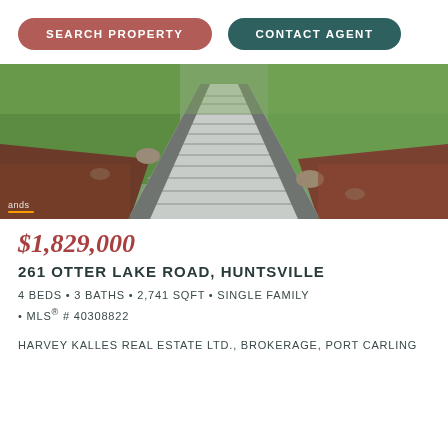SEARCH PROPERTY
CONTACT AGENT
[Figure (photo): Outdoor pathway of grey wooden planks leading through grass and reddish-brown soil with rocks on the sides]
$1,829,000
261 OTTER LAKE ROAD, HUNTSVILLE
4 BEDS • 3 BATHS • 2,741 SQFT • SINGLE FAMILY • MLS® # 40308822
HARVEY KALLES REAL ESTATE LTD., BROKERAGE, PORT CARLING